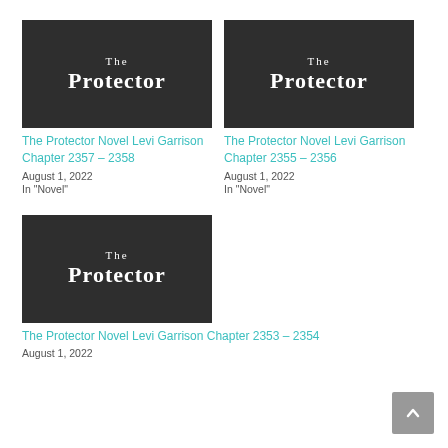[Figure (illustration): Dark background book cover image with 'The Protector' text in white serif font]
The Protector Novel Levi Garrison Chapter 2357 – 2358
August 1, 2022
In "Novel"
[Figure (illustration): Dark background book cover image with 'The Protector' text in white serif font]
The Protector Novel Levi Garrison Chapter 2355 – 2356
August 1, 2022
In "Novel"
[Figure (illustration): Dark background book cover image with 'The Protector' text in white serif font]
The Protector Novel Levi Garrison Chapter 2353 – 2354
August 1, 2022